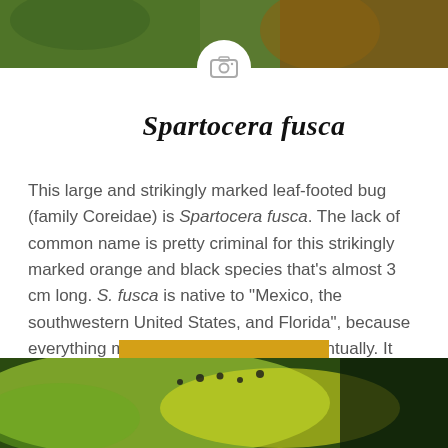[Figure (photo): Close-up nature/insect photo at top of page, green and brown tones]
Spartocera fusca
This large and strikingly marked leaf-footed bug (family Coreidae) is Spartocera fusca. The lack of common name is pretty criminal for this strikingly marked orange and black species that’s almost 3 cm long. S. fusca is native to “Mexico, the southwestern United States, and Florida”, because everything makes its way to Florida eventually. It eats…
READ MORE
[Figure (photo): Close-up macro photo at bottom of page showing green and yellow plant/insect detail with small dark droplets]